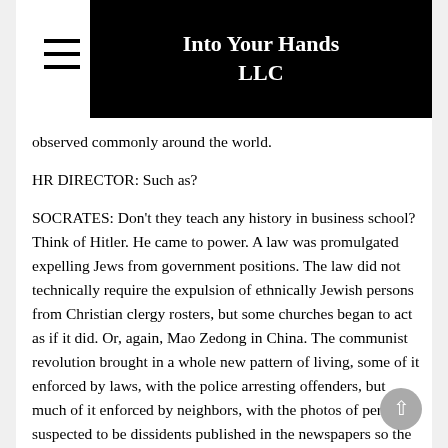Into Your Hands LLC
observed commonly around the world.
HR DIRECTOR: Such as?
SOCRATES: Don’t they teach any history in business school? Think of Hitler. He came to power. A law was promulgated expelling Jews from government positions. The law did not technically require the expulsion of ethnically Jewish persons from Christian clergy rosters, but some churches began to act as if it did. Or, again, Mao Zedong in China. The communist revolution brought in a whole new pattern of living, some of it enforced by laws, with the police arresting offenders, but much of it enforced by neighbors, with the photos of persons suspected to be dissidents published in the newspapers so the “good” citizens would know whom to shun.